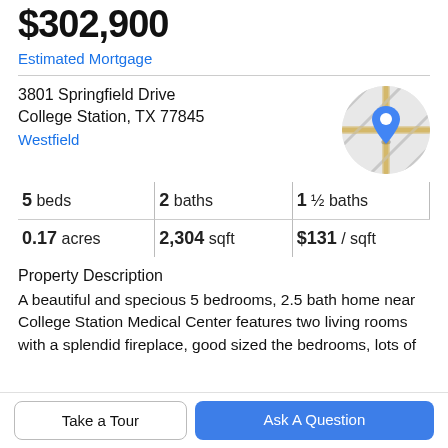$302,900
Estimated Mortgage
3801 Springfield Drive
College Station, TX 77845
Westfield
[Figure (map): Circular map thumbnail showing street map with blue location pin marker]
5 beds | 2 baths | 1 ½ baths
0.17 acres | 2,304 sqft | $131 / sqft
Property Description
A beautiful and specious 5 bedrooms, 2.5 bath home near College Station Medical Center features two living rooms with a splendid fireplace, good sized the bedrooms, lots of
Take a Tour
Ask A Question